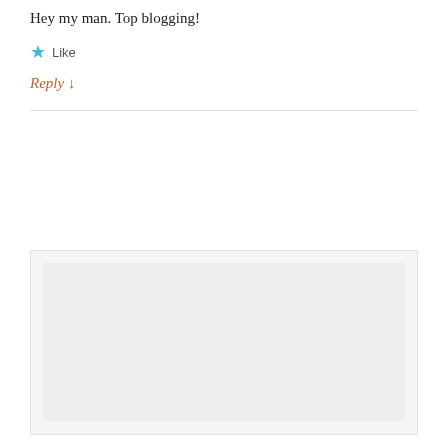Hey my man. Top blogging!
★ Like
Reply ↓
[Figure (other): A light gray form/input area with a darker gray inner rectangle, representing a comment reply form box.]